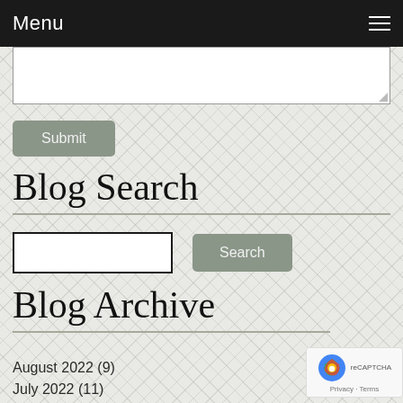Menu
[Figure (screenshot): Textarea input box (partially visible, white background with border and resize handle)]
Submit
Blog Search
[Figure (screenshot): Search input field and Search button]
Blog Archive
August 2022 (9)
July 2022 (11)
[Figure (screenshot): Google reCAPTCHA badge with Privacy and Terms links]